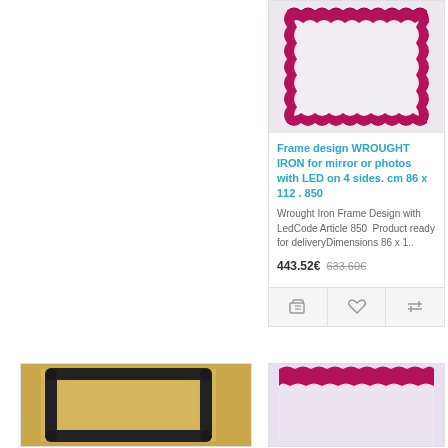[Figure (photo): Product photo of a wrought iron frame with pink/magenta ruffled fabric trim on all four sides, on white background]
Frame design WROUGHT IRON for mirror or photos with LED on 4 sides. cm 86 x 112 . 850
Wrought Iron Frame Design with LedCode Article 850  Product ready for deliveryDimensions 86 x 1..
443.52€   633.60€
[Figure (photo): Product photo of a dark wrought iron frame against a warm-toned background]
[Figure (photo): Product photo of a wrought iron frame with pink/magenta ruffled trim, partial view]